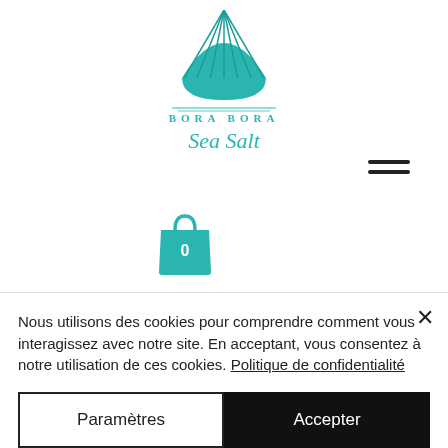[Figure (logo): Bora Bora Sea Salt logo with teal scallop shell and stylized script text]
[Figure (illustration): Teal shopping bag icon with the number 0]
[Figure (illustration): Hamburger menu icon (two horizontal lines)]
Nous utilisons des cookies pour comprendre comment vous interagissez avec notre site. En acceptant, vous consentez à notre utilisation de ces cookies. Politique de confidentialité
Paramètres
Accepter